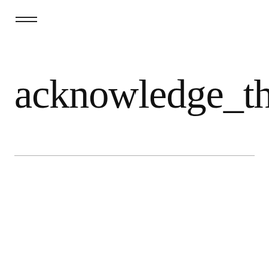[Figure (other): Hamburger menu icon (three horizontal lines)]
acknowledge_the_gap